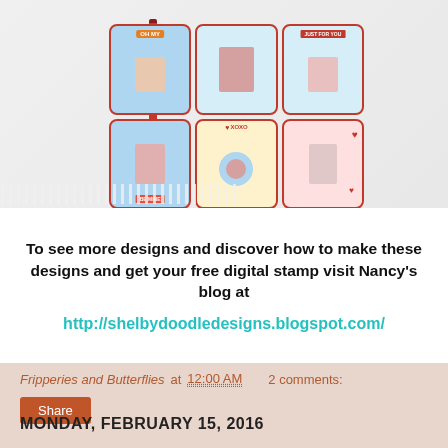[Figure (photo): A crafted Valentine's Day-themed display with a 3x2 grid of decorated cards featuring vintage-style illustrations, hearts, XOXO text, and 'Just for You' messages, with decorative red ribbon and white fringe trim along the bottom.]
To see more designs and discover how to make these designs and get your free digital stamp visit Nancy's blog at
http://shelbydoodledesigns.blogspot.com/
Fripperies and Butterflies at 12:00 AM    2 comments:
Share
MONDAY, FEBRUARY 15, 2016